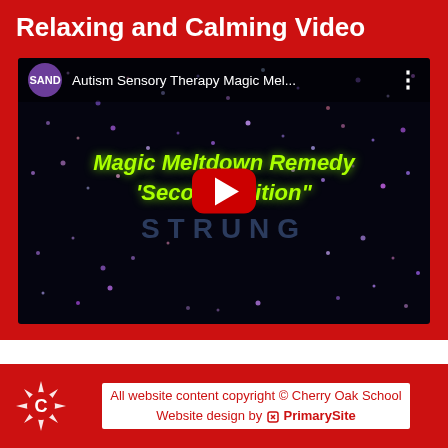Relaxing and Calming Video
[Figure (screenshot): YouTube video thumbnail showing 'Autism Sensory Therapy Magic Meltdown Remedy Second Edition' by SAND channel, with a dark background filled with colorful sparkle dots, green italic text reading 'Magic Meltdown Remedy' and 'Second Edition', a faded blue 'STRUNG' watermark, and a red YouTube play button overlay.]
Sitemap
Policies ^
All website content copyright © Cherry Oak School Website design by PrimarySite